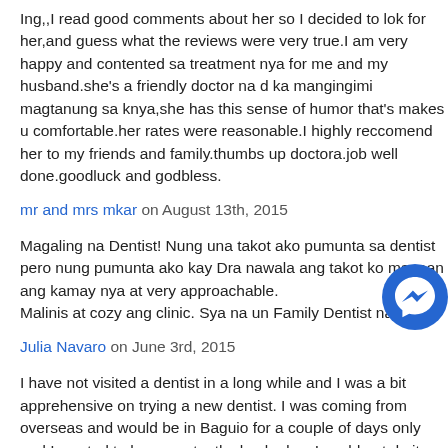Ing,,I read good comments about her so I decided to lok for her,and guess what the reviews were very true.I am very happy and contented sa treatment nya for me and my husband.she's a friendly doctor na d ka mangingimi magtanung sa knya,she has this sense of humor that's makes u comfortable.her rates were reasonable.I highly reccomend her to my friends and family.thumbs up doctora.job well done.goodluck and godbless.
mr and mrs mkar on August 13th, 2015
Magaling na Dentist! Nung una takot ako pumunta sa dentist pero nung pumunta ako kay Dra nawala ang takot ko magaan ang kamay nya at very approachable.
Malinis at cozy ang clinic. Sya na un Family Dentist namin.
Julia Navaro on June 3rd, 2015
I have not visited a dentist in a long while and I was a bit apprehensive on trying a new dentist. I was coming from overseas and would be in Baguio for a couple of days only and I wanted to have my teeth checked as I could not do it back in Manila as I didn't have much time. Knowing that my teeth's condition may be severe I was a bit worried about the procedure. Luckily Dr. Jacqueline Erker-Salcedo was very patient with me and made me feel very comfortable right at the beginning. Immediately I felt I was in the right hands and I could depend on her for the service that I needed. The entire procedure was